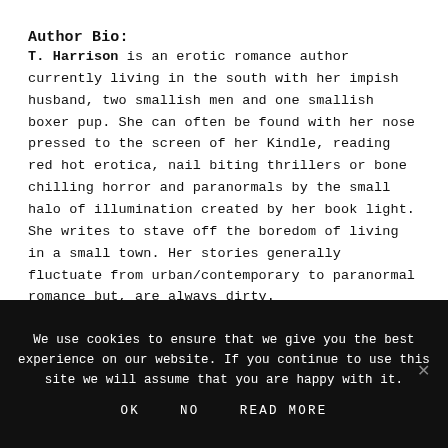Author Bio:
T. Harrison is an erotic romance author currently living in the south with her impish husband, two smallish men and one smallish boxer pup. She can often be found with her nose pressed to the screen of her Kindle, reading red hot erotica, nail biting thrillers or bone chilling horror and paranormals by the small halo of illumination created by her book light. She writes to stave off the boredom of living in a small town. Her stories generally fluctuate from urban/contemporary to paranormal romance but, are always dirty.
We use cookies to ensure that we give you the best experience on our website. If you continue to use this site we will assume that you are happy with it.
OK   NO   READ MORE